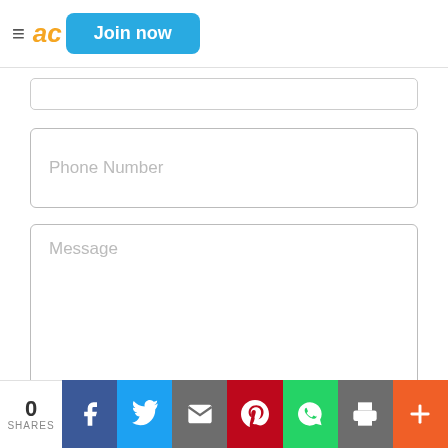≡ ad [Join now button]
[Figure (screenshot): Web form with Phone Number input field, Message textarea, and reCAPTCHA widget showing 'I'm not a robot' checkbox]
0 SHARES | Facebook | Twitter | Email | Pinterest | WhatsApp | Print | More